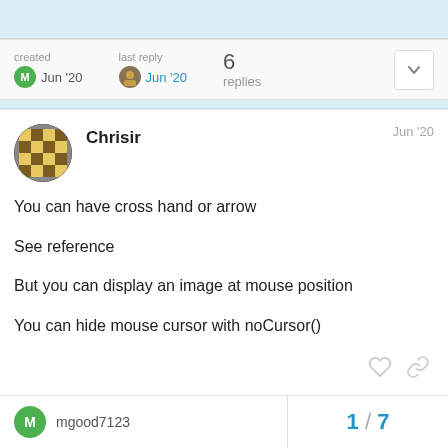created Jun '20   last reply Jun '20   6 replies
Chrisir   Jun '20
You can have cross hand or arrow
See reference
But you can display an image at mouse position
You can hide mouse cursor with noCursor()
mgood7123   1 / 7